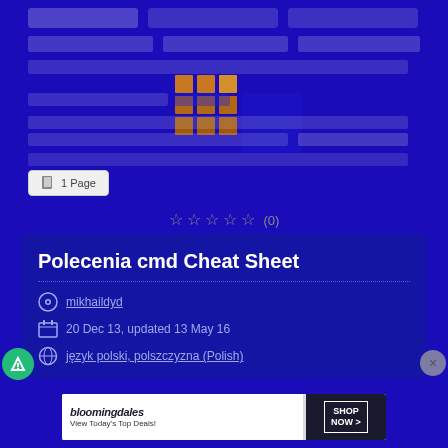[Figure (screenshot): Blue background preview area showing a thumbnail/preview of a cheat sheet document with placeholder bars and a small grid icon in the center]
1 Page
☆☆☆☆☆ (0)
Polecenia cmd Cheat Sheet
mikhaildyd
20 Dec 13, updated 13 May 16
język polski, polszczyzna (Polish)
[Figure (screenshot): Bloomingdale's advertisement banner: 'bloomingdales View Today's Top Deals! SHOP NOW >']